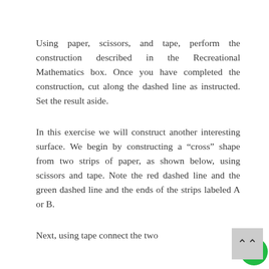Using paper, scissors, and tape, perform the construction described in the Recreational Mathematics box. Once you have completed the construction, cut along the dashed line as instructed. Set the result aside.
In this exercise we will construct another interesting surface. We begin by constructing a “cross” shape from two strips of paper, as shown below, using scissors and tape. Note the red dashed line and the green dashed line and the ends of the strips labeled A or B.
Next, using tape connect the two